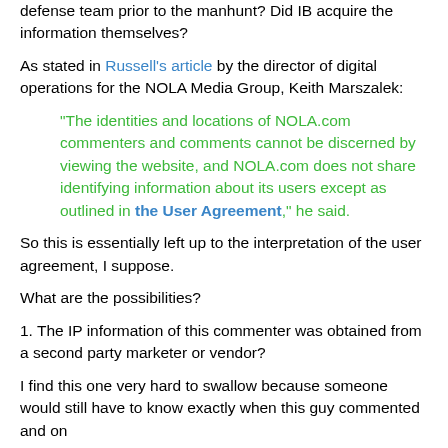defense team prior to the manhunt? Did IB acquire the information themselves?
As stated in Russell's article by the director of digital operations for the NOLA Media Group, Keith Marszalek:
"The identities and locations of NOLA.com commenters and comments cannot be discerned by viewing the website, and NOLA.com does not share identifying information about its users except as outlined in the User Agreement," he said.
So this is essentially left up to the interpretation of the user agreement, I suppose.
What are the possibilities?
1.  The IP information of this commenter was obtained from a second party marketer or vendor?
I find this one very hard to swallow because someone would still have to know exactly when this guy commented and on